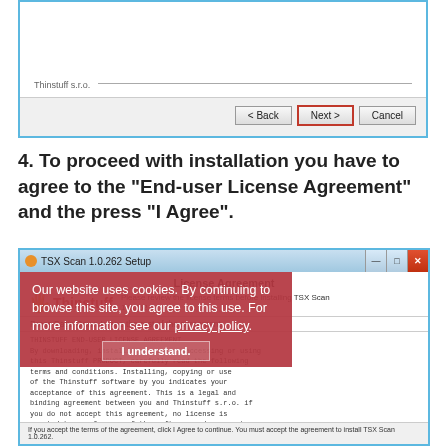[Figure (screenshot): Windows installer dialog bottom portion showing Back, Next (highlighted with red border), and Cancel buttons, with 'Thinstuff s.r.o.' label and horizontal line]
4. To proceed with installation you have to agree to the "End-user License Agreement" and the press "I Agree".
[Figure (screenshot): TSX Scan 1.0.262 Setup dialog showing License Agreement screen with Thinstuff logo, EULA text in monospace, and a cookie consent overlay with 'I understand' button]